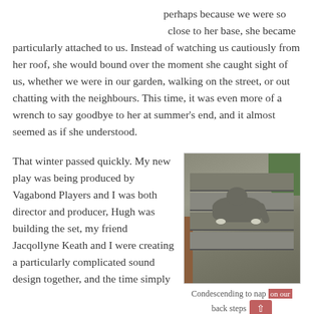perhaps because we were so close to her base, she became particularly attached to us. Instead of watching us cautiously from her roof, she would bound over the moment she caught sight of us, whether we were in our garden, walking on the street, or out chatting with the neighbours. This time, it was even more of a wrench to say goodbye to her at summer's end, and it almost seemed as if she understood.
That winter passed quickly. My new play was being produced by Vagabond Players and I was both director and producer, Hugh was building the set, my friend Jacqollyne Keath and I were creating a particularly complicated sound design together, and the time simply
[Figure (photo): Overhead view of a grey tabby cat lying on stone garden steps, viewed from above. Green foliage visible in upper right. Wooden element visible on left side.]
Condescending to nap on our back steps